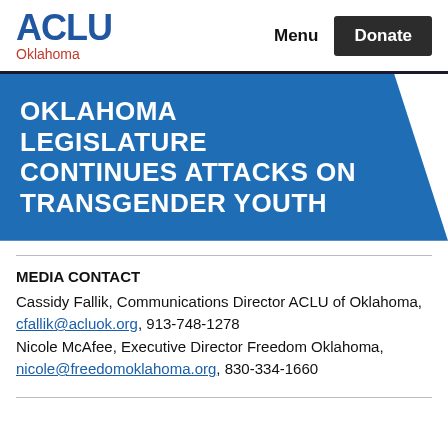ACLU Oklahoma | Menu | Donate
OKLAHOMA LEGISLATURE CONTINUES ATTACKS ON TRANSGENDER YOUTH
MEDIA CONTACT
Cassidy Fallik, Communications Director ACLU of Oklahoma, cfallik@acluok.org, 913-748-1278
Nicole McAfee, Executive Director Freedom Oklahoma, nicole@freedomoklahoma.org, 830-334-1660